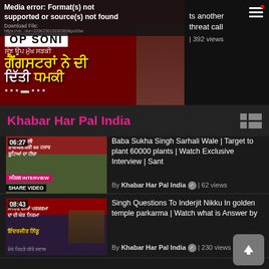[Figure (screenshot): Top video player showing media error with Punjabi text overlay on red background; error message reads 'Media error: Format(s) not supported or source(s) not found', Download File URL shown]
ts another threat call | 392 views
Khabar Har Pal India
[Figure (screenshot): Video thumbnail 06:27 - Baba Sukha Singh Sarhali Wale interview thumbnail with green outdoor background, SHARE VIDEO label]
Baba Sukha Singh Sarhali Wale | Target to plant 60000 plants | Watch Exclusive Interview | Sant
By Khabar Har Pal India ✓ | 62 views
[Figure (screenshot): Video thumbnail 08:43 - Singh Questions To Inderjit Nikku with orange turban man in golden temple]
Singh Questions To Inderjit Nikku In golden temple parkarma | Watch what is Answer by
By Khabar Har Pal India ✓ | 230 views
[Figure (screenshot): Video thumbnail 1:05:42 - Punjabi language video thumbnail with performers]
ਪੰਜਾਬੀ ਗਾਇਕਾਂ ਦੀ ਜੋੜੀ (ਜੋੜਾ ਜੋੜੀ) ਦਾ ਕਿਹੜਾ ਗਾਣਾ ਦਾ ਗਾਣਾ ਕਰ ਰਹੀ ਮੀਡੀਆ ਤੇ
By Khabar Har Pal India ✓ | 87 views